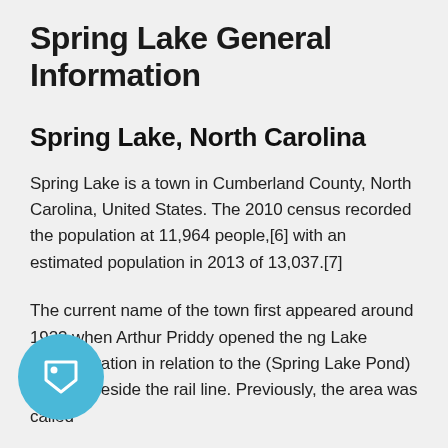Spring Lake General Information
Spring Lake, North Carolina
Spring Lake is a town in Cumberland County, North Carolina, United States. The 2010 census recorded the population at 11,964 people,[6] with an estimated population in 2013 of 13,037.[7]
The current name of the town first appeared around 1923 when Arthur Priddy opened the ng Lake service station in relation to the (Spring Lake Pond) that ran beside the rail line. Previously, the area was called